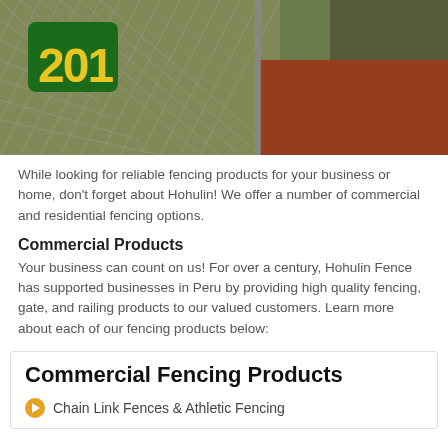[Figure (photo): Photo of a chain-link fence along a baseball field with a green sign showing '201' in yellow letters, red clay ground visible on the right.]
While looking for reliable fencing products for your business or home, don't forget about Hohulin! We offer a number of commercial and residential fencing options.
Commercial Products
Your business can count on us! For over a century, Hohulin Fence has supported businesses in Peru by providing high quality fencing, gate, and railing products to our valued customers. Learn more about each of our fencing products below:
Commercial Fencing Products
Chain Link Fences & Athletic Fencing